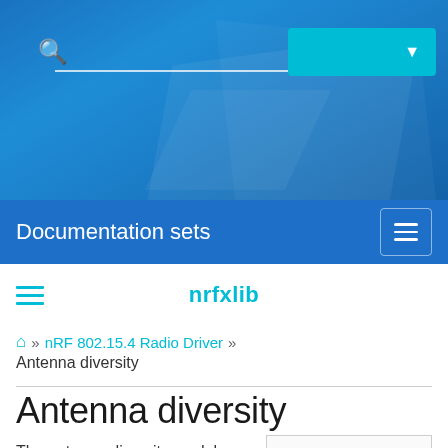Documentation sets
[Figure (screenshot): Website navigation header with blue gradient background, search bar, teal dropdown button, Documentation sets bar with hamburger menu, and nrfxlib library label with teal hamburger icon]
nrfxlib
⌂ » nRF 802.15.4 Radio Driver » Antenna diversity
Antenna diversity
The antenna diversity module allows an 802.15.4 radio device, equipped with two antennas, to select, during
Introduction
Hardware setup